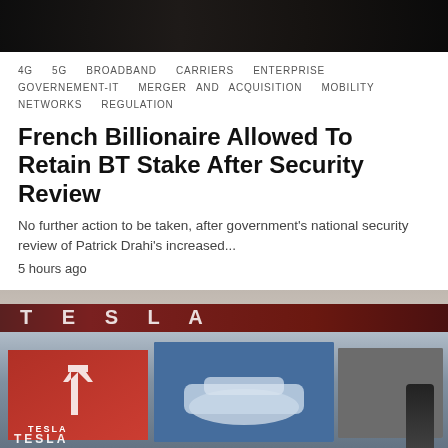[Figure (photo): Dark outdoor/nighttime scene at the top of the page, cropped image showing trees or dark background]
4G  5G  BROADBAND  CARRIERS  ENTERPRISE  GOVERNEMENT-IT  MERGER AND ACQUISITION  MOBILITY  NETWORKS  REGULATION
French Billionaire Allowed To Retain BT Stake After Security Review
No further action to be taken, after government's national security review of Patrick Drahi's increased...
5 hours ago
[Figure (photo): Tesla retail store interior/exterior showing the Tesla sign in red letters, display screens showing Tesla vehicles, Tesla logo, and a person standing near the store]